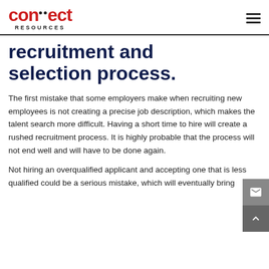connect RESOURCES
recruitment and selection process.
The first mistake that some employers make when recruiting new employees is not creating a precise job description, which makes the talent search more difficult. Having a short time to hire will create a rushed recruitment process. It is highly probable that the process will not end well and will have to be done again.
Not hiring an overqualified applicant and accepting one that is less qualified could be a serious mistake, which will eventually bring